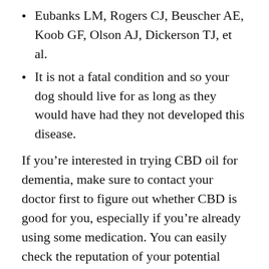Eubanks LM, Rogers CJ, Beuscher AE, Koob GF, Olson AJ, Dickerson TJ, et al.
It is not a fatal condition and so your dog should live for as long as they would have had they not developed this disease.
If you’re interested in trying CBD oil for dementia, make sure to contact your doctor first to figure out whether CBD is good for you, especially if you’re already using some medication. You can easily check the reputation of your potential supplier. Always make sure that your manufacturer uses organic hemp, makes its products with CO2 extraction, and posts testing results from 3rd-party laboratory screening.
How To Find The Right CBD Product